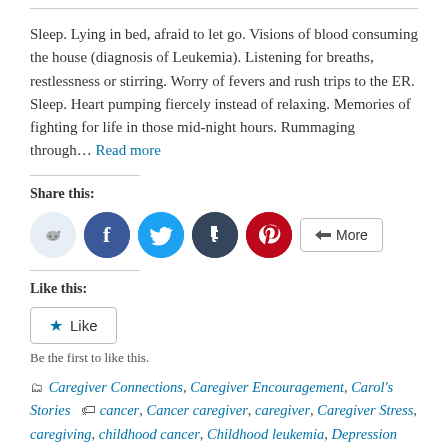Sleep. Lying in bed, afraid to let go. Visions of blood consuming the house (diagnosis of Leukemia). Listening for breaths, restlessness or stirring. Worry of fevers and rush trips to the ER. Sleep. Heart pumping fiercely instead of relaxing. Memories of fighting for life in those mid-night hours. Rummaging through… Read more
Share this:
[Figure (infographic): Social sharing icons: Reddit (light blue circle), Facebook (blue circle), Twitter (cyan circle), Tumblr (dark navy circle), Pinterest (red circle), and a More button with share icon]
Like this:
[Figure (infographic): Like button with blue star icon and 'Like' text]
Be the first to like this.
Caregiver Connections, Caregiver Encouragement, Carol's Stories   cancer, Cancer caregiver, caregiver, Caregiver Stress, caregiving, childhood cancer, Childhood leukemia, Depression